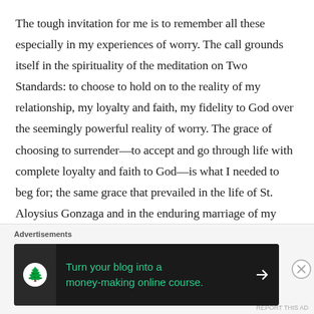The tough invitation for me is to remember all these especially in my experiences of worry. The call grounds itself in the spirituality of the meditation on Two Standards: to choose to hold on to the reality of my relationship, my loyalty and faith, my fidelity to God over the seemingly powerful reality of worry. The grace of choosing to surrender—to accept and go through life with complete loyalty and faith to God—is what I needed to beg for; the same grace that prevailed in the life of St. Aloysius Gonzaga and in the enduring marriage of my
Advertisements
[Figure (other): Advertisement banner with dark background showing a tree/blog icon and text: 'Turn your blog into a money-making online course.' with a right arrow.]